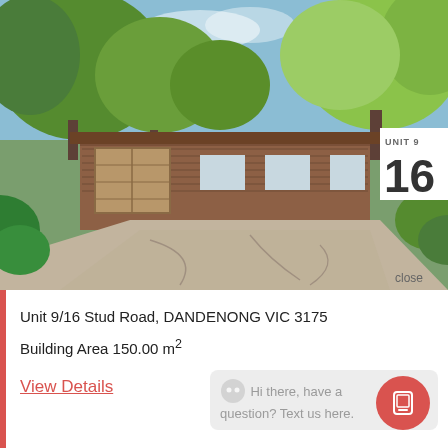[Figure (photo): Street view photo of Unit 9/16 Stud Road, Dandenong VIC 3175 — a brick residential property with large trees, concrete driveway, and garage. A number badge showing '16' with label 'UNIT 9' is overlaid at the top right.]
Unit 9/16 Stud Road, DANDENONG VIC 3175
Building Area 150.00 m²
View Details